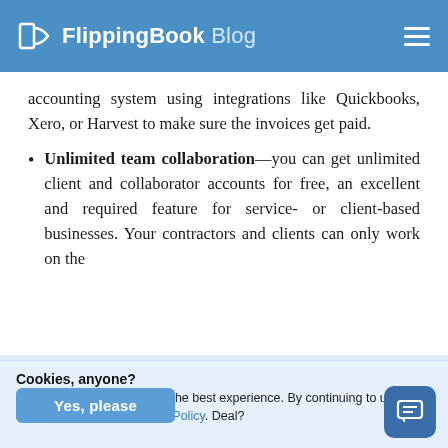FlippingBook Blog
accounting system using integrations like Quickbooks, Xero, or Harvest to make sure the invoices get paid.
Unlimited team collaboration—you can get unlimited client and collaborator accounts for free, an excellent and required feature for service- or client-based businesses. Your contractors and clients can only work on the
Cookies, anyone? We use cookies to give you the best experience. By continuing to use our site, you accept our Privacy Policy. Deal?
Yes, please